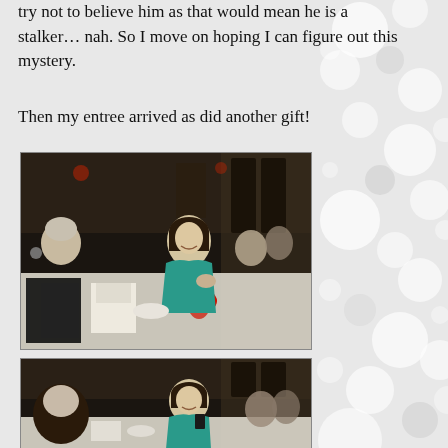try not to believe him as that would mean he is a stalker… nah. So I move on hoping I can figure out this mystery.
Then my entree arrived as did another gift!
[Figure (photo): Woman in teal dress sitting at a formal dinner table with red bow gift, surrounded by other guests in a dark restaurant setting.]
[Figure (photo): Wider shot of the same dinner scene with the woman in teal dress seated at the table with other guests.]